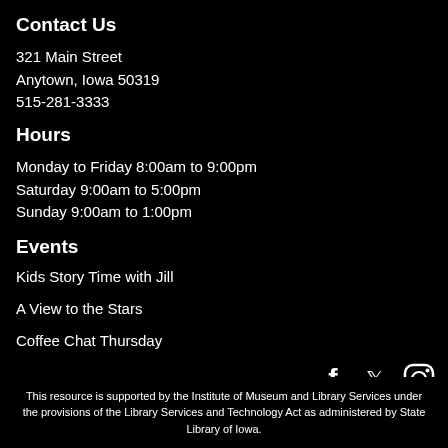Contact Us
321 Main Street
Anytown, Iowa 50319
515-281-3333
Hours
Monday to Friday 8:00am to 9:00pm
Saturday 9:00am to 5:00pm
Sunday 9:00am to 1:00pm
Events
Kids Story Time with Jill
A View to the Stars
Coffee Chat Thursday
[Figure (illustration): Social media icons: Facebook, Twitter, Instagram]
This resource is supported by the Institute of Museum and Library Services under the provisions of the Library Services and Technology Act as administered by State Library of Iowa.